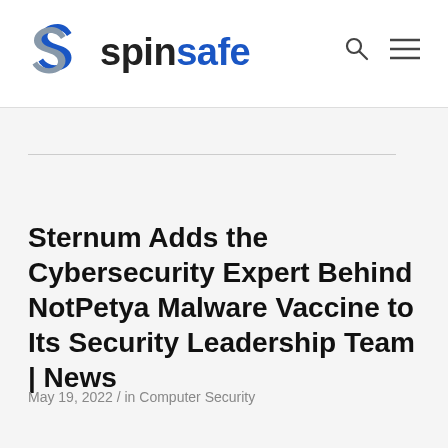spinsafe
Sternum Adds the Cybersecurity Expert Behind NotPetya Malware Vaccine to Its Security Leadership Team | News
May 19, 2022 / in Computer Security